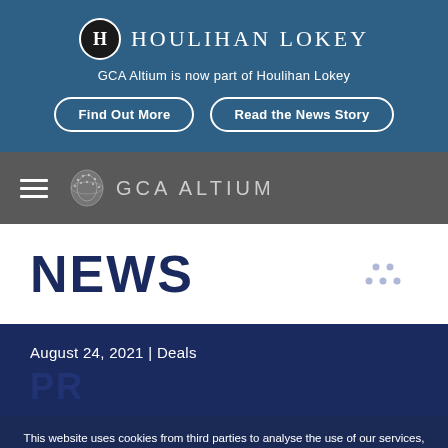[Figure (logo): Houlihan Lokey logo with circular H emblem]
GCA Altium is now part of Houlihan Lokey
Find Out More
Read the News Story
[Figure (logo): GCA Altium logo with orb icon and hamburger menu]
NEWS
August 24, 2021 | Deals
This website uses cookies from third parties to analyse the use of our services, personalise your browsing experience and provide you with interesting information. If you continue without changing your settings, we assume that you are happy to receive all cookies on the GCA Altium website.
AGREE    CHANGE SETTINGS    LEARN MORE